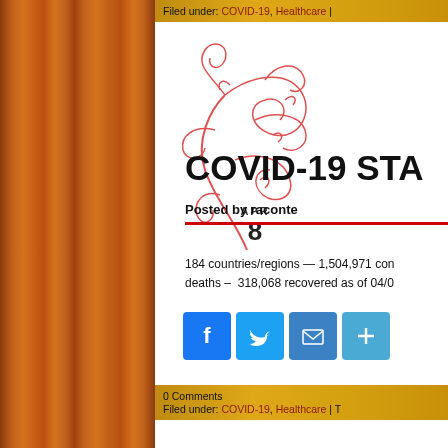Filed under: COVID-19, Healthcare |
[Figure (illustration): Red decorative floral swirl illustration on white background with APR 8 calendar date]
COVID-19 STAT
Posted by raconte
184 countries/regions — 1,504,971 confirmed — deaths – 318,068 recovered as of 04/0
[Figure (infographic): Social sharing icons: Facebook, Twitter, Email, Share Plus]
0 Comments
Filed under: COVID-19, Healthcare |
[Figure (illustration): Red decorative floral swirl illustration (bottom)]
COVID-19 STAT
Posted by raconte
184 countries/regions — 1,412,415 co